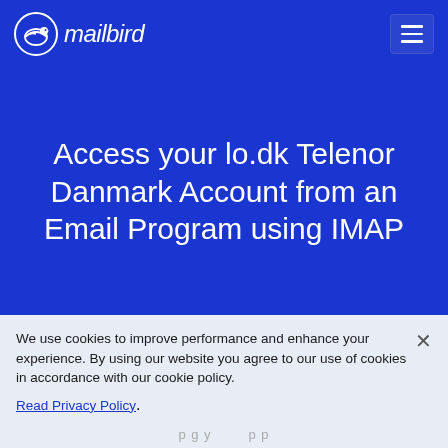[Figure (logo): Mailbird logo — circular bird icon and italic 'mailbird' wordmark in white on blue background, with hamburger menu button top right]
Access your lo.dk Telenor Danmark Account from an Email Program using IMAP
We use cookies to improve performance and enhance your experience. By using our website you agree to our use of cookies in accordance with our cookie policy.
Read Privacy Policy.